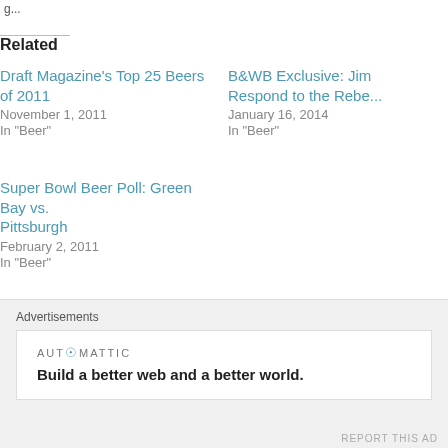g...
Related
Draft Magazine's Top 25 Beers of 2011
November 1, 2011
In "Beer"
B&WB Exclusive: Jim... Respond to the Rebe...
January 16, 2014
In "Beer"
Super Bowl Beer Poll: Green Bay vs. Pittsburgh
February 2, 2011
In "Beer"
Tags: 21st Amendment Brewery, AC/DC, avery, Back in Black, Ballantine, Fade... Zepplin, Left Hand Brewing, Mephistopheles Stout, Metallica, Rolling Rock, Roll...
Advertisements
AUTOMATTIC
Build a better web and a better world.
REPORT THIS AD